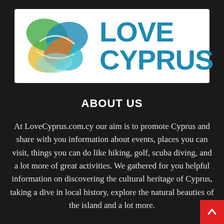[Figure (logo): Love Cyprus logo with colorful overlapping leaf/petal shapes in green, blue, teal, orange, and yellow, alongside bold teal text reading LOVE CYPRUS]
ABOUT US
At LoveCyprus.com.cy our aim is to promote Cyprus and share with you information about events, places you can visit, things you can do like hiking, golf, scuba diving, and a lot more of great activities. We gathered for you helpful information on discovering the cultural heritage of Cyprus, taking a dive in local history, explore the natural beauties of the island and a lot more.